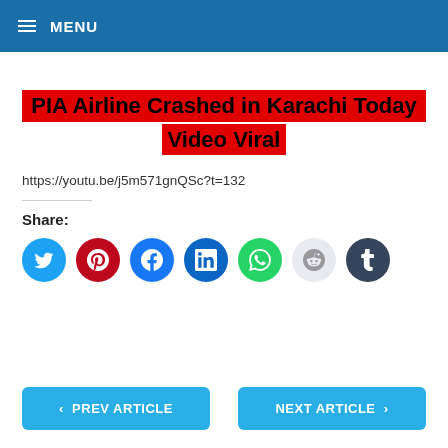MENU
PIA Airline Crashed in Karachi Today Video Viral
https://youtu.be/j5m571gnQSc?t=132
Share:
[Figure (infographic): Social share icons: Twitter, Pinterest, Facebook, LinkedIn, WhatsApp, Reddit, Tumblr]
< PREV ARTICLE
NEXT ARTICLE >